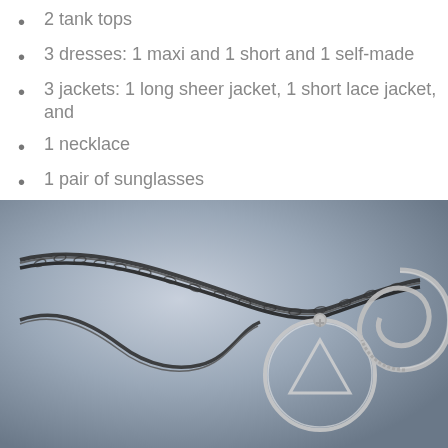2 tank tops
3 dresses: 1 maxi and 1 short and 1 self-made
3 jackets: 1 long sheer jacket, 1 short lace jacket, and
1 necklace
1 pair of sunglasses
1 ring
[Figure (photo): Close-up photo of silver jewelry including a necklace chain, a circular pendant with a triangle inside, and a knot-shaped ring on a light blue-grey surface]